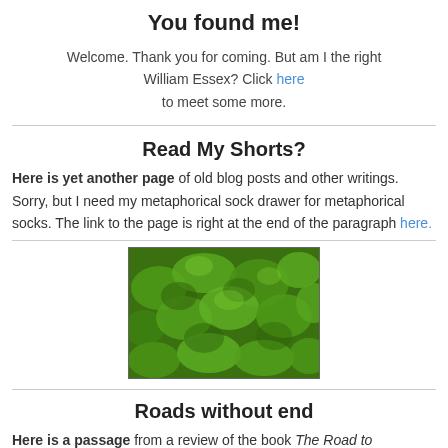You found me!
Welcome. Thank you for coming. But am I the right William Essex? Click here to meet some more.
Read My Shorts?
Here is yet another page of old blog posts and other writings. Sorry, but I need my metaphorical sock drawer for metaphorical socks. The link to the page is right at the end of the paragraph here.
[Figure (photo): Close-up photo of bright green curly kale or moss leaves]
Roads without end
Here is a passage from a review of the book The Road to Somewhere